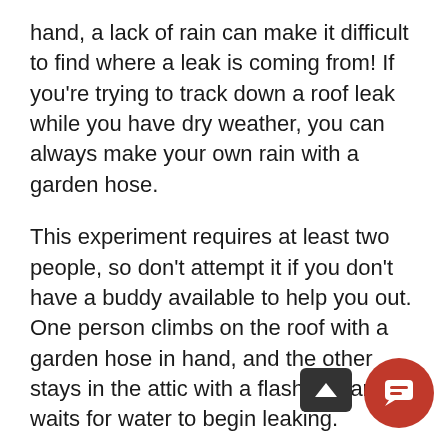hand, a lack of rain can make it difficult to find where a leak is coming from! If you're trying to track down a roof leak while you have dry weather, you can always make your own rain with a garden hose.
This experiment requires at least two people, so don't attempt it if you don't have a buddy available to help you out. One person climbs on the roof with a garden hose in hand, and the other stays in the attic with a flashlight and waits for water to begin leaking.
The person using the hose on the roof should work slowly, going section by section, and remaining one section for a few minutes. It can take a little while for water to make its way through a leak, so if